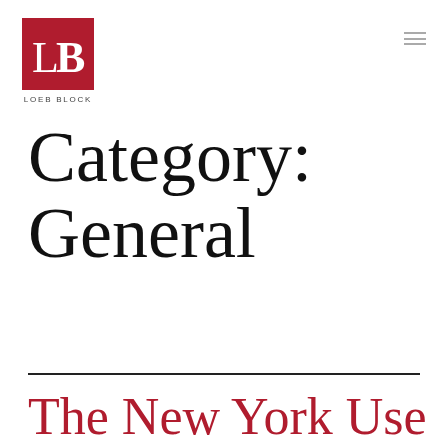LOEB BLOCK
Category:
General
The New York Use